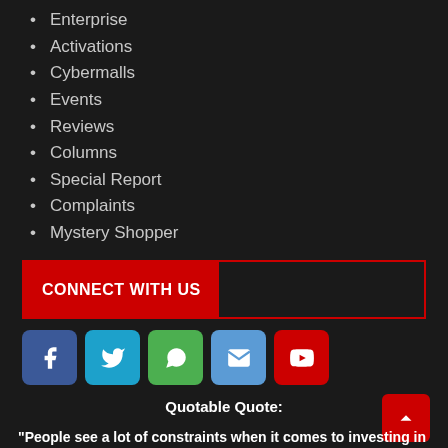Enterprise
Activations
Cybermalls
Events
Reviews
Columns
Special Report
Complaints
Mystery Shopper
CONNECT WITH US
[Figure (infographic): Social media icons: Facebook (blue), Twitter (teal), WhatsApp (green), Email (light blue), YouTube (red)]
Quotable Quote:
“People see a lot of constraints when it comes to investing in